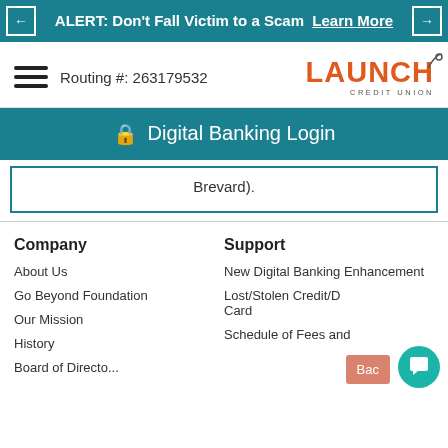ALERT: Don't Fall Victim to a Scam  Learn More
Routing #: 263179532
[Figure (logo): Launch Credit Union logo with orange text and arc symbol]
Digital Banking Login
Brevard).
Company
About Us
Go Beyond Foundation
Our Mission
History
Board of Directors
Support
New Digital Banking Enhancement
Lost/Stolen Credit/Debit Card
Schedule of Fees and